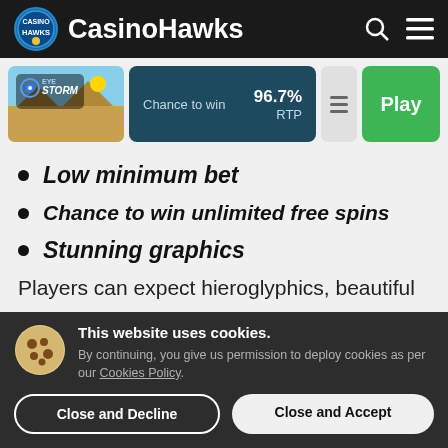CasinoHawks
[Figure (screenshot): Eye of the Storm game thumbnail with desert/Egyptian theme]
Chance to win   96.7% RTP
Low minimum bet
Chance to win unlimited free spins
Stunning graphics
Players can expect hieroglyphics, beautiful
This website uses cookies. By continuing, you give us permission to deploy cookies as per our Cookies Policy.
Close and Decline   Close and Accept